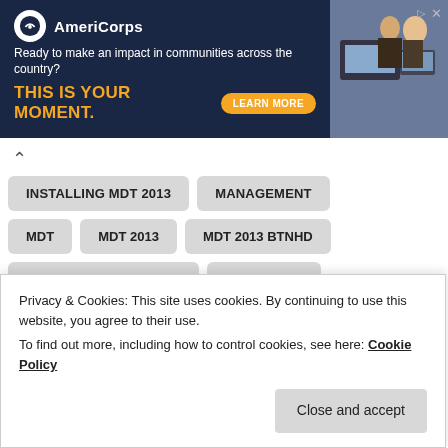[Figure (screenshot): AmeriCorps advertisement banner with dark navy background, logo, tagline 'Ready to make an impact in communities across the country?', headline 'THIS IS YOUR MOMENT.', learn more button, and image of people at computers.]
INSTALLING MDT 2013
MANAGEMENT
MDT
MDT 2013
MDT 2013 BTNHD
MDT 2013 DEPLOYMENT
MICROSOFT
MICROSOFT (BUSINESS OPERATION)
MICROSOFT DEPLOYMENT TOOLKIT
Privacy & Cookies: This site uses cookies. By continuing to use this website, you agree to their use.
To find out more, including how to control cookies, see here: Cookie Policy
Close and accept